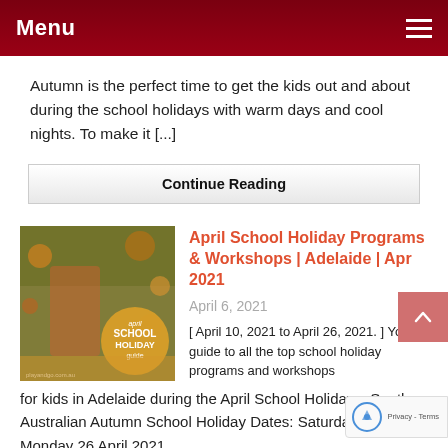Menu
Autumn is the perfect time to get the kids out and about during the school holidays with warm days and cool nights. To make it [...]
Continue Reading
[Figure (photo): April School Holiday Guide promotional image with a child in autumn leaves and an orange circle overlay with text 'april SCHOOL HOLIDAY guide', watermark: playandgo.com.au]
April School Holiday Programs & Workshops | Adelaide | Apr 2021
April 6, 2021
[ April 10, 2021 to April 26, 2021. ] Your guide to all the top school holiday programs and workshops for kids in Adelaide during the April School Holidays. South Australian Autumn School Holiday Dates: Saturday 10 April - Monday 26 April 2021.